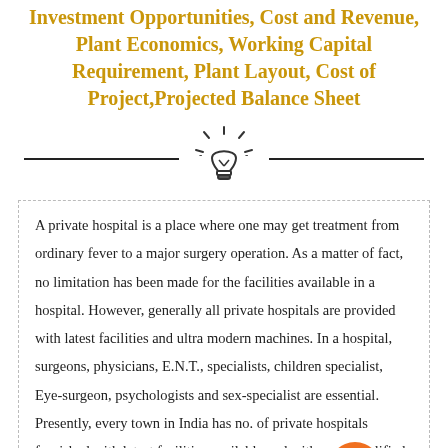Investment Opportunities, Cost and Revenue, Plant Economics, Working Capital Requirement, Plant Layout, Cost of Project,Projected Balance Sheet
[Figure (illustration): Light bulb icon with radiating lines, centered between two horizontal divider lines]
A private hospital is a place where one may get treatment from ordinary fever to a major surgery operation. As a matter of fact, no limitation has been made for the facilities available in a hospital. However, generally all private hospitals are provided with latest facilities and ultra modern machines. In a hospital, surgeons, physicians, E.N.T., specialists, children specialist, Eye-surgeon, psychologists and sex-specialist are essential. Presently, every town in India has no. of private hospitals furnished with latest facilities available and with more qualified surgeons, physicians and